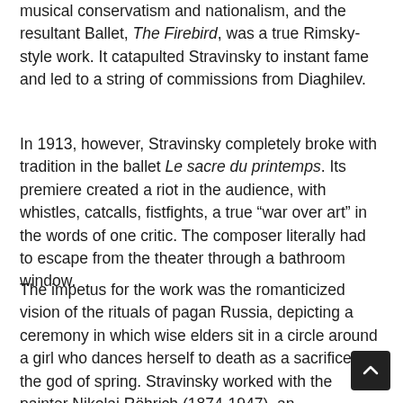musical conservatism and nationalism, and the resultant Ballet, The Firebird, was a true Rimsky-style work. It catapulted Stravinsky to instant fame and led to a string of commissions from Diaghilev.
In 1913, however, Stravinsky completely broke with tradition in the ballet Le sacre du printemps. Its premiere created a riot in the audience, with whistles, catcalls, fistfights, a true “war over art” in the words of one critic. The composer literally had to escape from the theater through a bathroom window.
The impetus for the work was the romanticized vision of the rituals of pagan Russia, depicting a ceremony in which wise elders sit in a circle around a girl who dances herself to death as a sacrifice to the god of spring. Stravinsky worked with the painter Nikolai Röhrich (1874-1947), an acknowledged specialist in the pa...